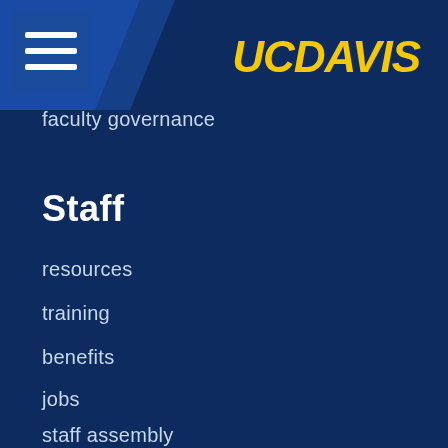[Figure (logo): UC Davis logo in gold italic text on dark blue background]
faculty governance
Staff
resources
training
benefits
jobs
staff assembly
website feedback